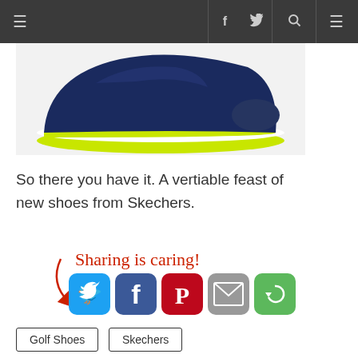Navigation bar with menu icons, social links (f, twitter), search, and menu
[Figure (photo): Close-up photo of a Skechers golf shoe with navy blue upper and lime green sole on white background]
So there you have it. A vertiable feast of new shoes from Skechers.
[Figure (infographic): Sharing is caring! social share buttons: Twitter, Facebook, Pinterest, Email, More]
Golf Shoes
Skechers